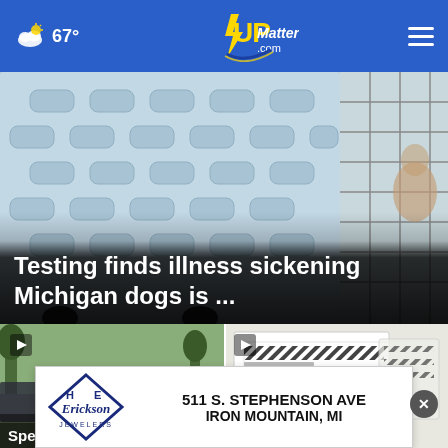67° UPMatters.com
[Figure (photo): Close-up of a blue plastic pet carrier/crate with ventilation slots, with a wire door visible on the right side]
Testing finds illness sickening Michigan dogs is ...
[Figure (photo): Outdoor scene with people, appears to be a community event]
[Figure (photo): Documents with diagonal striped redactions/markings]
Special Needs
[Figure (other): Advertisement for Erickson Jewelers, 511 S. Stephenson Ave, Iron Mountain, MI]